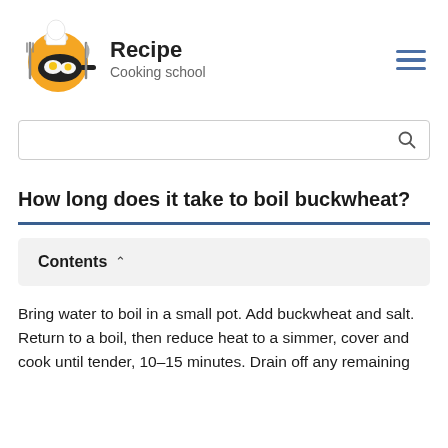Recipe
Cooking school
[Figure (logo): Cooking school logo: chef hat with frying pan, eggs, fork and knife on an orange/yellow circle]
How long does it take to boil buckwheat?
Contents
Bring water to boil in a small pot. Add buckwheat and salt. Return to a boil, then reduce heat to a simmer, cover and cook until tender, 10–15 minutes. Drain off any remaining